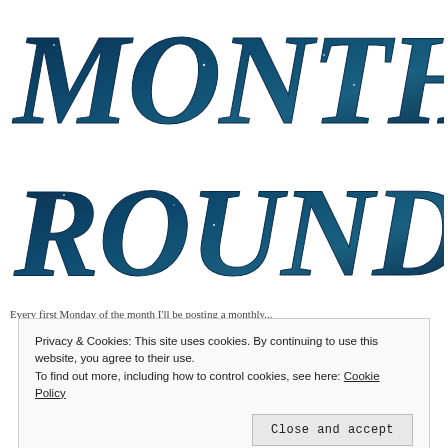MONTHLY ROUNDUP
Every first Monday of the month I'll be posting a monthly...
Privacy & Cookies: This site uses cookies. By continuing to use this website, you agree to their use. To find out more, including how to control cookies, see here: Cookie Policy
Close and accept